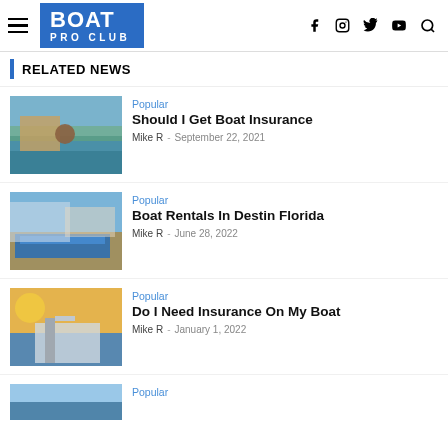BOAT PRO CLUB
RELATED NEWS
[Figure (photo): Boat on water with wooden steering wheel, blue sky and green trees in background]
Popular
Should I Get Boat Insurance
Mike R  -  September 22, 2021
[Figure (photo): Blue pontoon boat docked at marina with buildings in background]
Popular
Boat Rentals In Destin Florida
Mike R  -  June 28, 2022
[Figure (photo): White powerboat on water at sunset]
Popular
Do I Need Insurance On My Boat
Mike R  -  January 1, 2022
[Figure (photo): Boat on water, partial view at bottom of page]
Popular